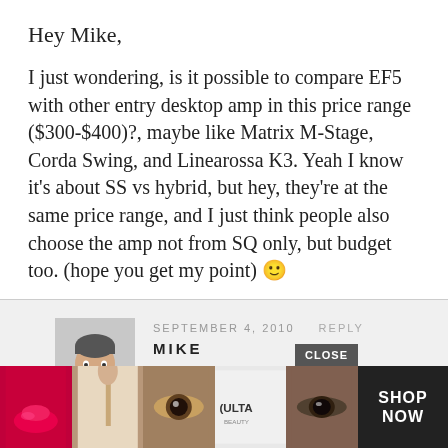Hey Mike,
I just wondering, is it possible to compare EF5 with other entry desktop amp in this price range ($300-$400)?, maybe like Matrix M-Stage, Corda Swing, and Linearossa K3. Yeah I know it’s about SS vs hybrid, but hey, they’re at the same price range, and I just think people also choose the amp not from SQ only, but budget too. (hope you get my point) 🙂
SEPTEMBER 4, 2010   REPLY
MIKE
[Figure (photo): Avatar photo of Mike, man in black t-shirt]
That should be a fun comparison.
[Figure (photo): Ulta beauty advertisement banner at bottom of page showing lipstick, makeup brush, eyes, Ulta logo, and eye shadow with SHOP NOW button]